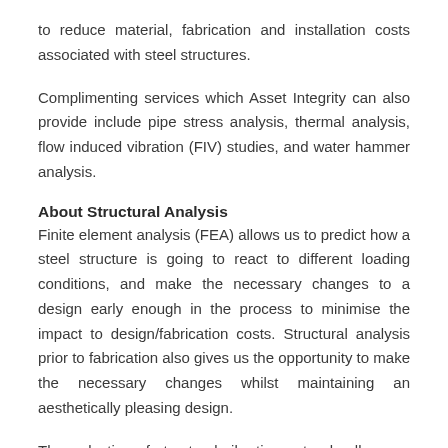to reduce material, fabrication and installation costs associated with steel structures.
Complimenting services which Asset Integrity can also provide include pipe stress analysis, thermal analysis, flow induced vibration (FIV) studies, and water hammer analysis.
About Structural Analysis
Finite element analysis (FEA) allows us to predict how a steel structure is going to react to different loading conditions, and make the necessary changes to a design early enough in the process to minimise the impact to design/fabrication costs. Structural analysis prior to fabrication also gives us the opportunity to make the necessary changes whilst maintaining an aesthetically pleasing design.
The reduction of structural vibration not only allows us to reduce the potential for fatigue failure, but also the potential for whole